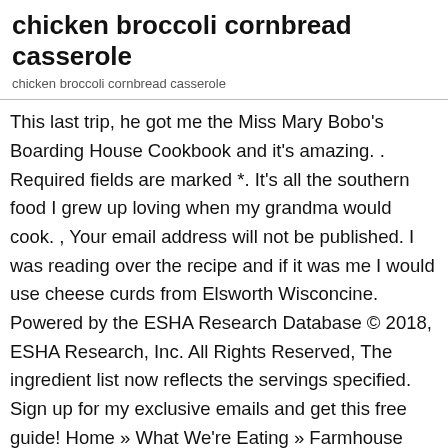chicken broccoli cornbread casserole
chicken broccoli cornbread casserole
This last trip, he got me the Miss Mary Bobo's Boarding House Cookbook and it's amazing. . Required fields are marked *. It's all the southern food I grew up loving when my grandma would cook. , Your email address will not be published. I was reading over the recipe and if it was me I would use cheese curds from Elsworth Wisconcine. Powered by the ESHA Research Database © 2018, ESHA Research, Inc. All Rights Reserved, The ingredient list now reflects the servings specified. Sign up for my exclusive emails and get this free guide! Home » What We're Eating » Farmhouse Chicken Cornbread Casserole, Lasted edited October 13, 2020. Bake the casserole (uncovered) in a 400 degree F oven for 40-45 minutes, or until a toothpick inserted in the center of the cornbread topping comes out clean. It's creamy and has cornbread, which is never a bad idea and